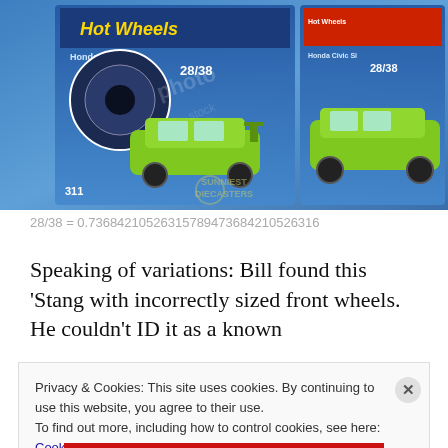[Figure (photo): Two Hot Wheels Honda Civic Si diecast cars (28/38) in packaging on a blue surface. Both cars are lime green. Left package partially visible, right package shows Hot Wheels logo. A watermark reads SUNNIEST DIECASTERS.]
Speaking of variations: Bill found this 'Stang with incorrectly sized front wheels. He couldn't ID it as a known
Privacy & Cookies: This site uses cookies. By continuing to use this website, you agree to their use.
To find out more, including how to control cookies, see here: Cookie Policy